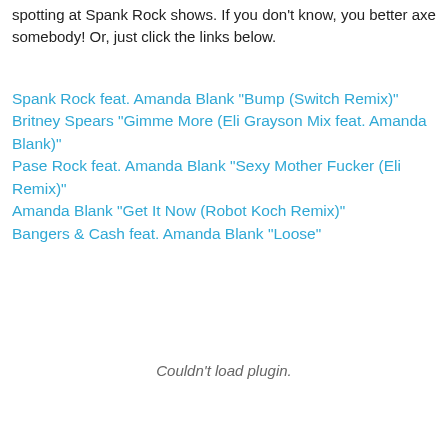spotting at Spank Rock shows. If you don't know, you better axe somebody! Or, just click the links below.
Spank Rock feat. Amanda Blank "Bump (Switch Remix)"
Britney Spears "Gimme More (Eli Grayson Mix feat. Amanda Blank)"
Pase Rock feat. Amanda Blank "Sexy Mother Fucker (Eli Remix)"
Amanda Blank "Get It Now (Robot Koch Remix)"
Bangers & Cash feat. Amanda Blank "Loose"
Couldn't load plugin.